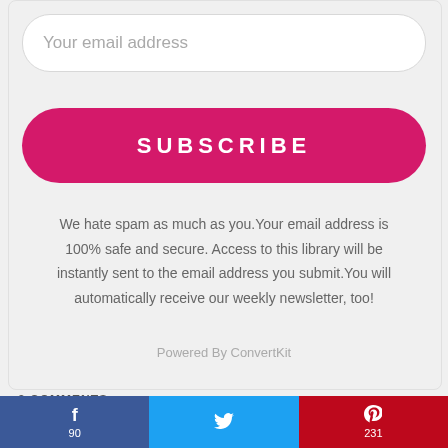Your email address
SUBSCRIBE
We hate spam as much as you.Your email address is 100% safe and secure. Access to this library will be instantly sent to the email address you submit.You will automatically receive our weekly newsletter, too!
Powered By ConvertKit
2 COMMENTS
[Figure (logo): reCAPTCHA logo badge in bottom right corner]
f 90
🐦 90
P 231